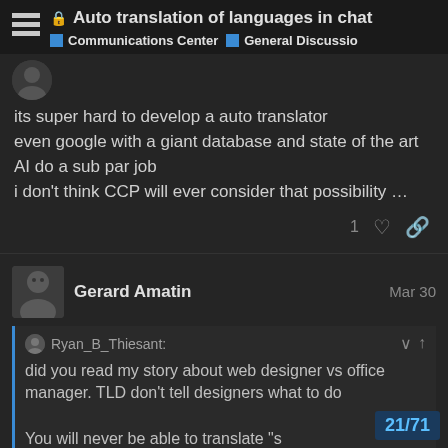Auto translation of languages in chat | Communications Center | General Discussio
its super hard to develop a auto translator
even google with a giant database and state of the art AI do a sub par job
i don't think CCP will ever consider that possibility …
Gerard Amatin   Mar 30
Ryan_B_Thiesant:
did you read my story about web designer vs office manager. TLD don't tell designers what to do
You will never be able to translate "s
21/71